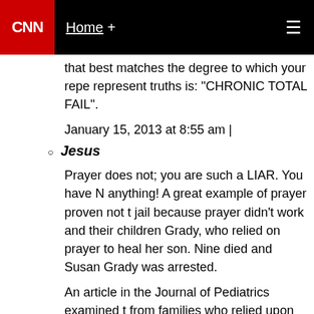CNN | Home +
that best matches the degree to which your repetitions represent truths is: "CHRONIC TOTAL FAIL".
January 15, 2013 at 8:55 am |
Jesus
Prayer does not; you are such a LIAR. You have NO anything! A great example of prayer proven not t jail because prayer didn't work and their children Grady, who relied on prayer to heal her son. Nine died and Susan Grady was arrested.
An article in the Journal of Pediatrics examined t from families who relied upon faith healing from concluded that four out of five ill children, who d healers or being left to prayer only, would most l had received medical care.
The statistical studies from the nineteenth centur studies on prayer are quite consistent with the fa